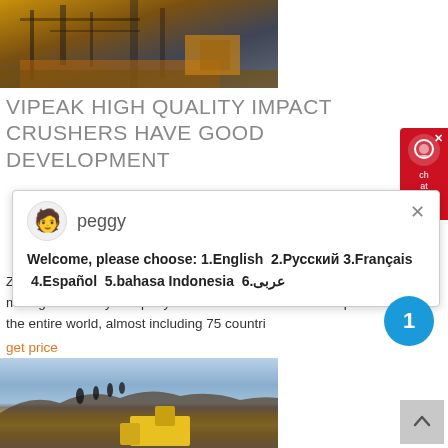[Figure (photo): Industrial mining/crushing facility with machinery and warm orange/golden lighting at dusk or dawn]
VIPEAK HIGH QUALITY IMPACT CRUSHERS HAVE GOOD DEVELOPMENT
[Figure (screenshot): Chat popup overlay with avatar icon labeled 'peggy' and multilingual welcome message: Welcome, please choose: 1.English  2.Русский 3.Français  4.Español  5.bahasa Indonesia  6.عربى]
ZhengzhouVipeakHeavy Industry Machinery Co., Ltd is a high-tech mining machinery company in China. Our service has expanded to the entire world, almost including 75 countri…
get price
[Figure (photo): Workers standing on top of a rocky terrain/quarry with yellow heavy machinery visible below, cloudy sky in background]